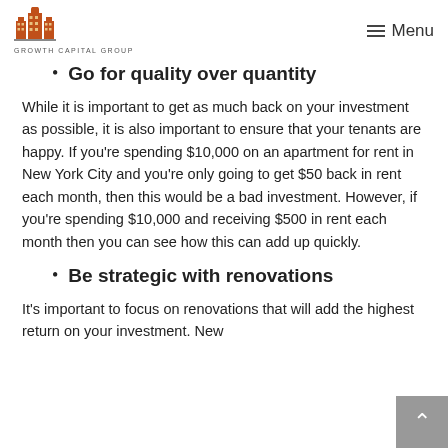Growth Capital Group — Menu
Go for quality over quantity
While it is important to get as much back on your investment as possible, it is also important to ensure that your tenants are happy. If you're spending $10,000 on an apartment for rent in New York City and you're only going to get $50 back in rent each month, then this would be a bad investment. However, if you're spending $10,000 and receiving $500 in rent each month then you can see how this can add up quickly.
Be strategic with renovations
It's important to focus on renovations that will add the highest return on your investment. New